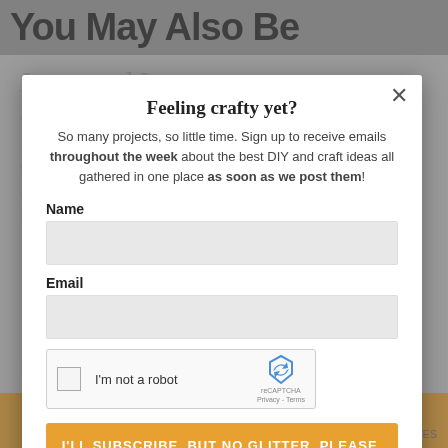You May Also Be Interested In...
40 DIY Picture Frames You Can Make & Sell
110 DIY Pallet Ideas for Projects That Are Easy to Make and Sell
38 DIY Craft Ideas to Repurpose Old Game Boards to Sell
50 Crafts for Girls to Make and Sell
40 Unique DIY Planters
Feeling crafty yet?
So many projects, so little time. Sign up to receive emails throughout the week about the best DIY and craft ideas all gathered in one place as soon as we post them!
Name
Email
[Figure (other): reCAPTCHA widget — checkbox labeled 'I'm not a robot' with reCAPTCHA logo and Privacy/Terms links]
I'LL SUBSCRIBE, BUT NO GLITTER, PLEASE.